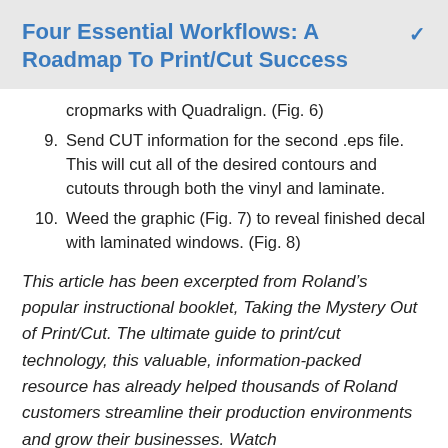Four Essential Workflows: A Roadmap To Print/Cut Success
cropmarks with Quadralign. (Fig. 6)
9. Send CUT information for the second .eps file. This will cut all of the desired contours and cutouts through both the vinyl and laminate.
10. Weed the graphic (Fig. 7) to reveal finished decal with laminated windows. (Fig. 8)
This article has been excerpted from Roland’s popular instructional booklet, Taking the Mystery Out of Print/Cut. The ultimate guide to print/cut technology, this valuable, information-packed resource has already helped thousands of Roland customers streamline their production environments and grow their businesses. Watch